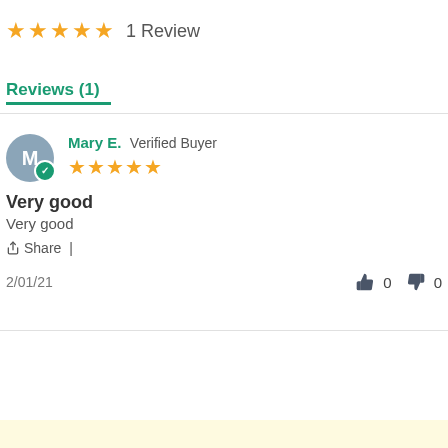★★★★★  1 Review
Reviews (1)
Mary E.  Verified Buyer
★★★★★
Very good
Very good
Share  |
2/01/21
👍 0  👎 0